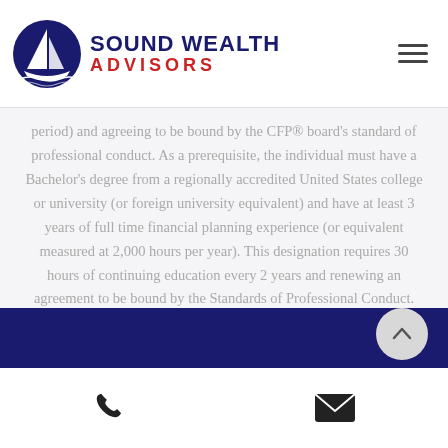Sound Wealth Advisors
period) and agreeing to be bound by the CFP® board's standard of professional conduct. As a prerequisite, the individual must have a Bachelor's degree from a regionally accredited United States college or university (or foreign university equivalent) and have at least 3 years of full time financial planning experience (or equivalent measured at 2,000 hours per year). This designation requires 30 hours of continuing education every 2 years and renewing an agreement to be bound by the Standards of Professional Conduct. SEC registration does not constitute an endorsement of the firm by the Commission nor does it indicate that the adviser has attained a particular level of skill.